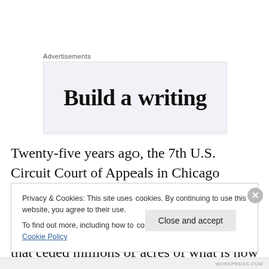Advertisements
[Figure (screenshot): Advertisement box with light blue-grey background showing partial text 'Build a writing']
Twenty-five years ago, the 7th U.S. Circuit Court of Appeals in Chicago affirmed that Chippewa Indian tribes retained off-reservation fishing and hunting rights in 1837 and 1842 treaties that ceded millions of acres of what is now the northern third of Wisconsin to the U.S.
Privacy & Cookies: This site uses cookies. By continuing to use this website, you agree to their use.
To find out more, including how to control cookies, see here: Cookie Policy
Close and accept